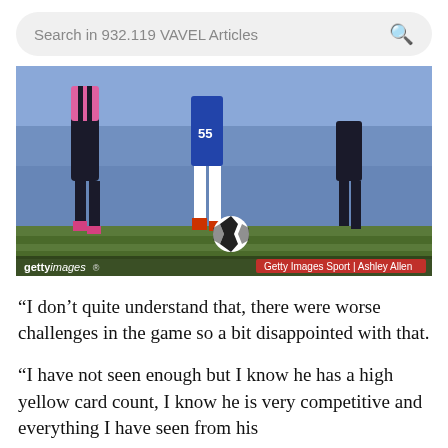Search in 932.119 VAVEL Articles
[Figure (photo): Soccer/football match action photo showing players' legs and a ball on the pitch. Players wearing blue and pink/black striped kits. Getty Images Sport photo by Ashley Allen.]
Getty Images Sport | Ashley Allen
“I don’t quite understand that, there were worse challenges in the game so a bit disappointed with that.
“I have not seen enough but I know he has a high yellow card count, I know he is very competitive and everything I have seen from his